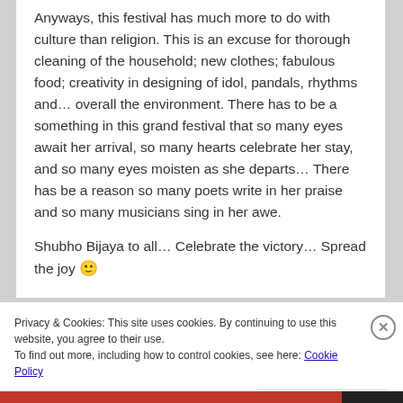Anyways, this festival has much more to do with culture than religion. This is an excuse for thorough cleaning of the household; new clothes; fabulous food; creativity in designing of idol, pandals, rhythms and… overall the environment. There has to be a something in this grand festival that so many eyes await her arrival, so many hearts celebrate her stay, and so many eyes moisten as she departs… There has be a reason so many poets write in her praise and so many musicians sing in her awe.
Shubho Bijaya to all… Celebrate the victory… Spread the joy 🙂
Privacy & Cookies: This site uses cookies. By continuing to use this website, you agree to their use.
To find out more, including how to control cookies, see here: Cookie Policy
Close and accept